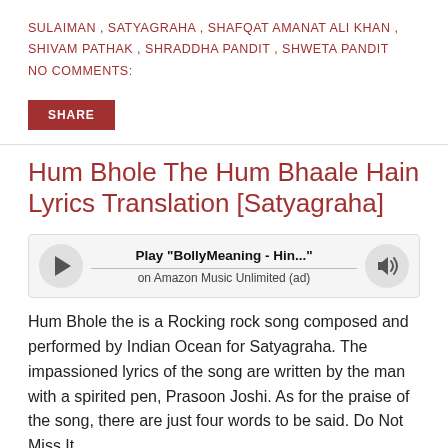SULAIMAN , SATYAGRAHA , SHAFQAT AMANAT ALI KHAN , SHIVAM PATHAK , SHRADDHA PANDIT , SHWETA PANDIT     NO COMMENTS:
SHARE
Hum Bhole The Hum Bhaale Hain Lyrics Translation [Satyagraha]
[Figure (other): Music player widget with play button, 'Play "BollyMeaning - Hin..."' title, 'on Amazon Music Unlimited (ad)' subtitle, and volume button]
Hum Bhole the is a Rocking rock song composed and performed by Indian Ocean for Satyagraha. The impassioned lyrics of the song are written by the man with a spirited pen, Prasoon Joshi. As for the praise of the song, there are just four words to be said. Do Not Miss It.
Here are the lyrics of the song with Translation. Most of the…